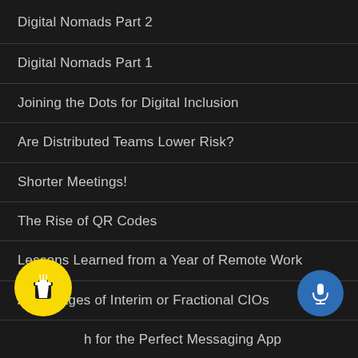Digital Nomads Part 2
Digital Nomads Part 1
Joining the Dots for Digital Inclusion
Are Distributed Teams Lower Risk?
Shorter Meetings!
The Rise of QR Codes
Lessons Learned from a Year of Remote Work
Advantages of Interim or Fractional CIOs
h for the Perfect Messaging App
The Future of CX, Quantum Computing, & 5G
[Figure (illustration): Yellow circular coffee cup button icon at bottom left]
[Figure (illustration): Blue circular microphone button icon at bottom right]